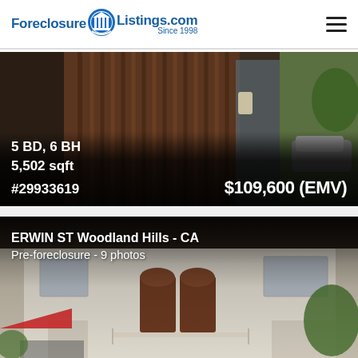ForeclosureListings.com Since 1998
[Figure (photo): Exterior photo of property with wooden slatted door and vehicle visible. Overlaid text shows 5 BD, 6 BH, 5,502 sqft, #29933619, and price $109,600 (EMV).]
[Figure (photo): Exterior photo of a multi-story residential building with arched doorways, brown doors, and garden. Overlaid text shows ERWIN ST Woodland Hills - CA and Pre-foreclosure - 9 photos.]